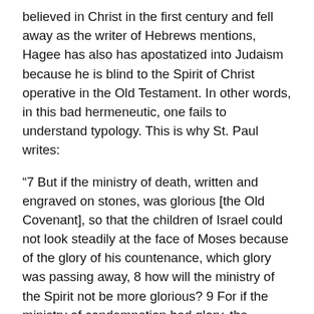believed in Christ in the first century and fell away as the writer of Hebrews mentions, Hagee has also has apostatized into Judaism because he is blind to the Spirit of Christ operative in the Old Testament. In other words, in this bad hermeneutic, one fails to understand typology. This is why St. Paul writes:
“7 But if the ministry of death, written and engraved on stones, was glorious [the Old Covenant], so that the children of Israel could not look steadily at the face of Moses because of the glory of his countenance, which glory was passing away, 8 how will the ministry of the Spirit not be more glorious? 9 For if the ministry of condemnation had glory, the ministry of righteousness exceeds much more in glory. 10 For even what was made glorious had no glory in this respect, because of